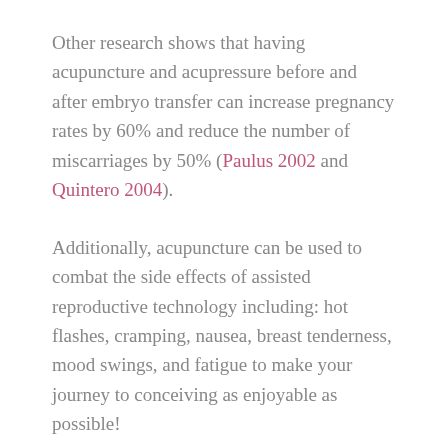Other research shows that having acupuncture and acupressure before and after embryo transfer can increase pregnancy rates by 60% and reduce the number of miscarriages by 50% (Paulus 2002 and Quintero 2004).
Additionally, acupuncture can be used to combat the side effects of assisted reproductive technology including: hot flashes, cramping, nausea, breast tenderness, mood swings, and fatigue to make your journey to conceiving as enjoyable as possible!
At the San Pedro Acupuncture Health Center we want every parent to have a happy and healthy pregnancy journey which is why we specialize in fertility. For more information about how...